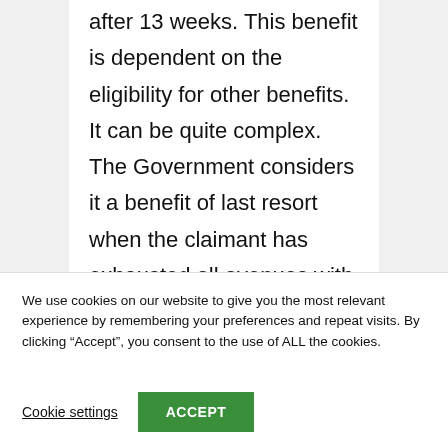200,000 for up to two years after 13 weeks. This benefit is dependent on the eligibility for other benefits. It can be quite complex. The Government considers it a benefit of last resort when the claimant has exhausted all avenues with their lender, and is at risk of
We use cookies on our website to give you the most relevant experience by remembering your preferences and repeat visits. By clicking “Accept”, you consent to the use of ALL the cookies.
Cookie settings
ACCEPT